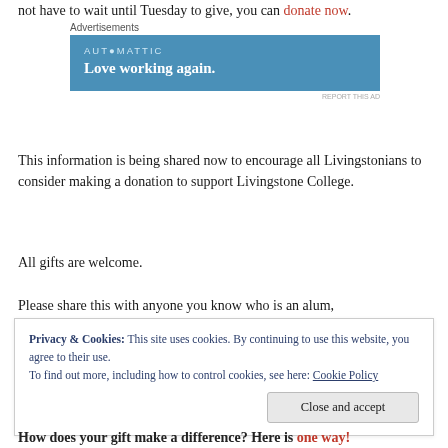not have to wait until Tuesday to give, you can donate now.
[Figure (screenshot): Advertisement banner for Automattic with blue background and text 'Love working again.']
This information is being shared now to encourage all Livingstonians to consider making a donation to support Livingstone College.
All gifts are welcome.
Please share this with anyone you know who is an alum,
Privacy & Cookies: This site uses cookies. By continuing to use this website, you agree to their use. To find out more, including how to control cookies, see here: Cookie Policy
Close and accept
How does your gift make a difference? Here is one way!